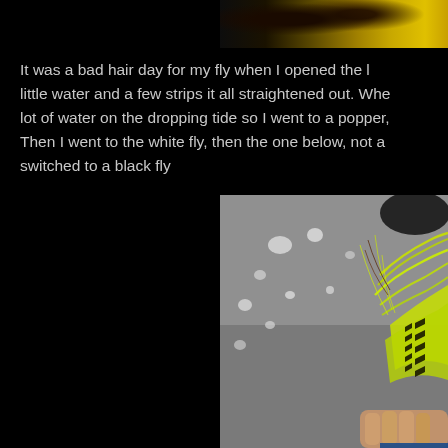[Figure (photo): Close-up photo of a fishing fly with yellow/gold tones against dark background, partially visible at top right]
It was a bad hair day for my fly when I opened the little water and a few strips it all straightened out. When lot of water on the dropping tide so I went to a popper, Then I went to the white fly, then the one below, not a switched to a black fly
[Figure (photo): Close-up photo of a chartreuse/yellow and black fishing fly with feathery material, held against a gray water background with white water droplets visible]